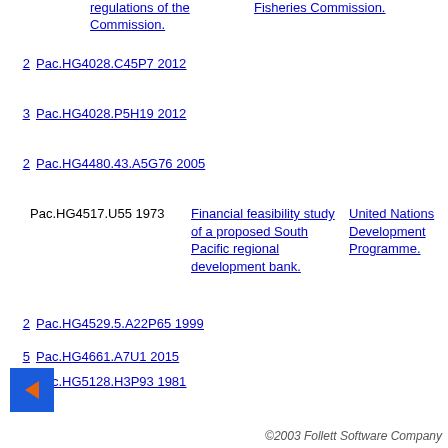regulations of the Commission. | Fisheries Commission.
2  Pac.HG4028.C45P7 2012
3  Pac.HG4028.P5H19 2012
2  Pac.HG4480.43.A5G76 2005
Pac.HG4517.U55 1973  Financial feasibility study of a proposed South Pacific regional development bank.  United Nations Development Programme.  D
2  Pac.HG4529.5.A22P65 1999
5  Pac.HG4661.A7U1 2015
2  Pac.HG5128.H3P93 1981
[Figure (other): Blue square back navigation button with left-pointing orange/red triangle arrow]
©2003 Follett Software Company